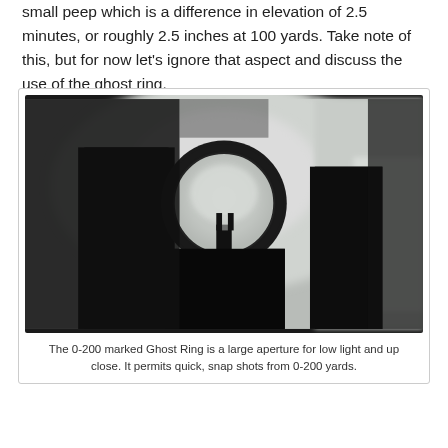small peep which is a difference in elevation of 2.5 minutes, or roughly 2.5 inches at 100 yards. Take note of this, but for now let's ignore that aspect and discuss the use of the ghost ring.
[Figure (photo): Close-up photo of a ghost ring rear sight on a firearm. The circular large-aperture ghost ring is centered in the image with a front sight post visible through the ring. The image is dark/silhouetted with a blurred light background.]
The 0-200 marked Ghost Ring is a large aperture for low light and up close. It permits quick, snap shots from 0-200 yards.